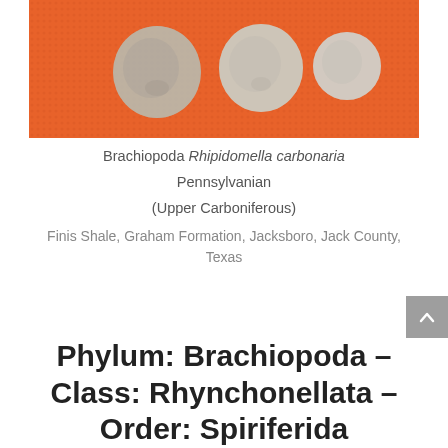[Figure (photo): Photograph of three Brachiopoda Rhipidomella carbonaria fossil specimens on an orange textured background. Three rounded shell-like fossils of varying sizes are visible.]
Brachiopoda Rhipidomella carbonaria
Pennsylvanian
(Upper Carboniferous)
Finis Shale, Graham Formation, Jacksboro, Jack County, Texas
Phylum: Brachiopoda – Class: Rhynchonellata – Order: Spiriferida